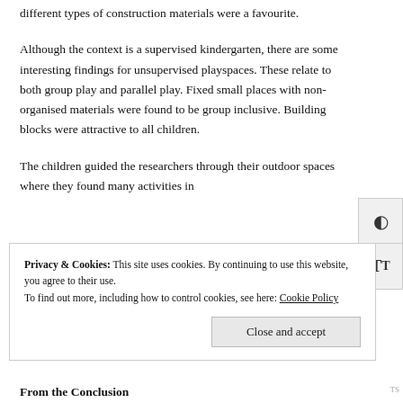different types of construction materials were a favourite.
Although the context is a supervised kindergarten, there are some interesting findings for unsupervised playspaces. These relate to both group play and parallel play. Fixed small places with non-organised materials were found to be group inclusive. Building blocks were attractive to all children.
The children guided the researchers through their outdoor spaces where they found many activities in
Privacy & Cookies: This site uses cookies. By continuing to use this website, you agree to their use.
To find out more, including how to control cookies, see here: Cookie Policy
From the Conclusion